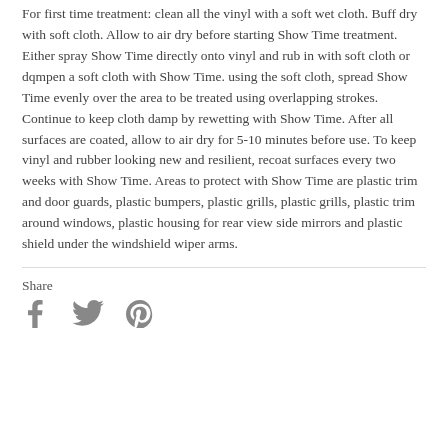For first time treatment: clean all the vinyl with a soft wet cloth. Buff dry with soft cloth. Allow to air dry before starting Show Time treatment. Either spray Show Time directly onto vinyl and rub in with soft cloth or dqmpen a soft cloth with Show Time. using the soft cloth, spread Show Time evenly over the area to be treated using overlapping strokes. Continue to keep cloth damp by rewetting with Show Time. After all surfaces are coated, allow to air dry for 5-10 minutes before use. To keep vinyl and rubber looking new and resilient, recoat surfaces every two weeks with Show Time. Areas to protect with Show Time are plastic trim and door guards, plastic bumpers, plastic grills, plastic grills, plastic trim around windows, plastic housing for rear view side mirrors and plastic shield under the windshield wiper arms.
Share
[Figure (other): Social sharing icons: Facebook, Twitter, Pinterest]